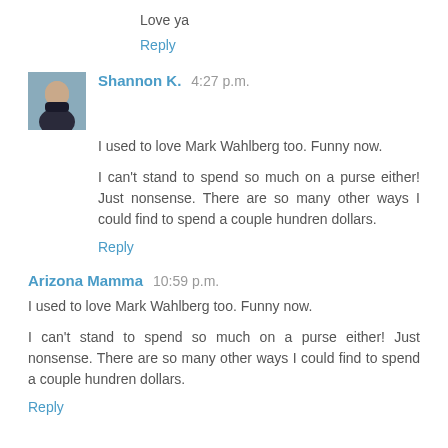Love ya
Reply
Shannon K.  4:27 p.m.
I used to love Mark Wahlberg too. Funny now.
I can't stand to spend so much on a purse either! Just nonsense. There are so many other ways I could find to spend a couple hundren dollars.
Reply
Arizona Mamma  10:59 p.m.
I used to love Mark Wahlberg too. Funny now.
I can't stand to spend so much on a purse either! Just nonsense. There are so many other ways I could find to spend a couple hundren dollars.
Reply